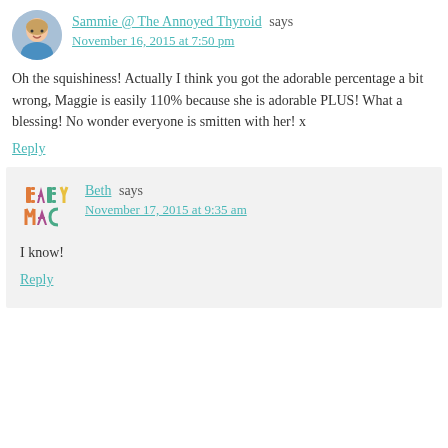Sammie @ The Annoyed Thyroid says
November 16, 2015 at 7:50 pm
Oh the squishiness! Actually I think you got the adorable percentage a bit wrong, Maggie is easily 110% because she is adorable PLUS! What a blessing! No wonder everyone is smitten with her! x
Reply
Beth says
November 17, 2015 at 9:35 am
I know!
Reply